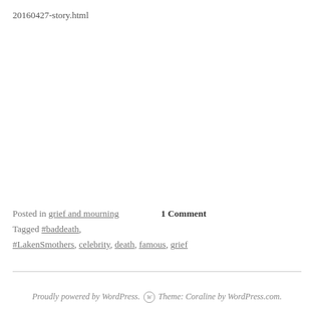20160427-story.html
Posted in grief and mourning    1 Comment
Tagged #baddeath, #LakenSmothers, celebrity, death, famous, grief
Proudly powered by WordPress. Theme: Coraline by WordPress.com.